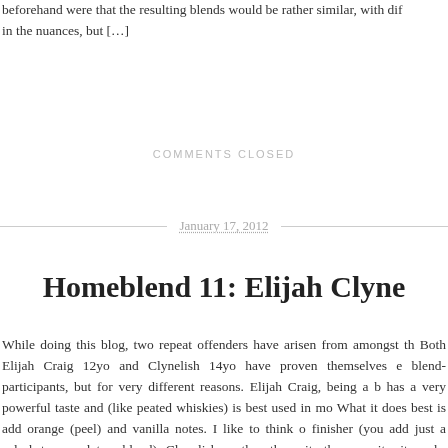beforehand were that the resulting blends would be rather similar, with dif in the nuances, but […]
COMMENTS CLOSED
January 17, 2012
Homeblend 11: Elijah Clyne
While doing this blog, two repeat offenders have arisen from amongst th Both Elijah Craig 12yo and Clynelish 14yo have proven themselves e blend-participants, but for very different reasons. Elijah Craig, being a b has a very powerful taste and (like peated whiskies) is best used in mo What it does best is add orange (peel) and vanilla notes. I like to think o finisher (you add just a splash to complete a blend). Clynelish on the othe quite the opposite: it works best in larger amounts, imparting a mellow qu waxy mouthfeel and finish to whatever blend it finds itself in. As you proba